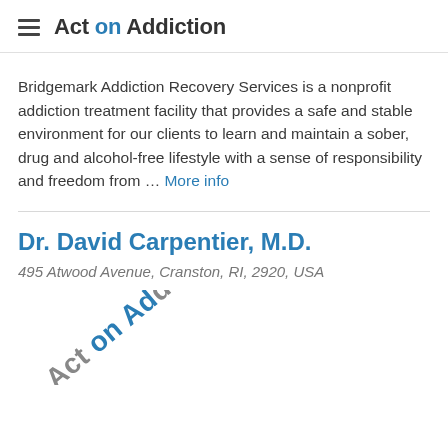Act on Addiction
Bridgemark Addiction Recovery Services is a nonprofit addiction treatment facility that provides a safe and stable environment for our clients to learn and maintain a sober, drug and alcohol-free lifestyle with a sense of responsibility and freedom from … More info
Dr. David Carpentier, M.D.
495 Atwood Avenue, Cranston, RI, 2920, USA
[Figure (logo): Partial watermark/logo showing 'Act on Addiction' text rotated diagonally at bottom of page]